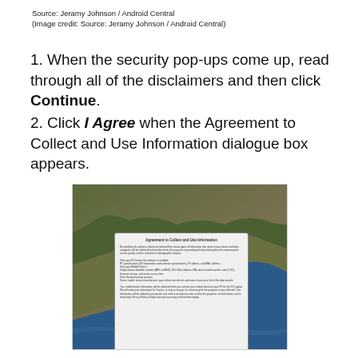Source: Jeramy Johnson / Android Central
(Image credit: Source: Jeramy Johnson / Android Central)
1. When the security pop-ups come up, read through all of the disclaimers and then click Continue.
2. Click I Agree when the Agreement to Collect and Use Information dialogue box appears.
[Figure (screenshot): Screenshot of a macOS desktop with a coastal cliff wallpaper showing an Agreement to Collect and Use Information dialog box with 'I do not agree' and 'I Agree' buttons.]